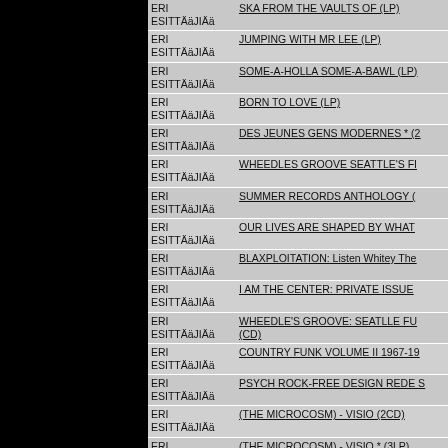| Artist | Title |
| --- | --- |
| ERI ESITTÄäJIÄä | SKA FROM THE VAULTS OF (LP) |
| ERI ESITTÄäJIÄä | JUMPING WITH MR LEE (LP) |
| ERI ESITTÄäJIÄä | SOME-A-HOLLA SOME-A-BAWL (LP) |
| ERI ESITTÄäJIÄä | BORN TO LOVE (LP) |
| ERI ESITTÄäJIÄä | DES JEUNES GENS MODERNES * (2 |
| ERI ESITTÄäJIÄä | WHEEDLES GROOVE SEATTLE'S FI |
| ERI ESITTÄäJIÄä | SUMMER RECORDS ANTHOLOGY ( |
| ERI ESITTÄäJIÄä | OUR LIVES ARE SHAPED BY WHAT |
| ERI ESITTÄäJIÄä | BLAXPLOITATION: Listen Whitey The |
| ERI ESITTÄäJIÄä | I AM THE CENTER: PRIVATE ISSUE |
| ERI ESITTÄäJIÄä | WHEEDLE'S GROOVE: SEATLLE FU (CD) |
| ERI ESITTÄäJIÄä | COUNTRY FUNK VOLUME II 1967-19 |
| ERI ESITTÄäJIÄä | PSYCH ROCK-FREE DESIGN REDE S |
| ERI ESITTÄäJIÄä | (THE MICROCOSM) - VISIO (2CD) |
| ERI ESITTÄäJIÄä | (THE MICROCOSM) - VISIO * (3LP) |
| ERI ESITTÄäJIÄä | THIS RECORD BELONGS TO (CD) |
| ERI ESITTÄäJIÄä | SING IT HIGH SING IT LOW (CD) |
| ERI ESITTÄäJIÄä | SING IT HIGH SING IT LOW * (LP) |
| ERI ESITTÄäJIÄä |  |